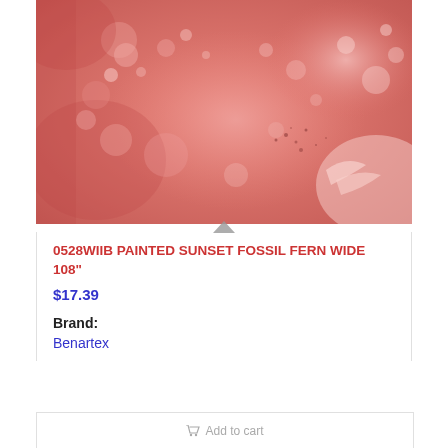[Figure (photo): Close-up photo of pink/rose-colored fabric with painted sunset fossil fern pattern, showing bubble-like and watercolor textures in shades of pink and rose.]
0528WIIB PAINTED SUNSET FOSSIL FERN WIDE 108"
$17.39
Brand:
Benartex
Add to cart